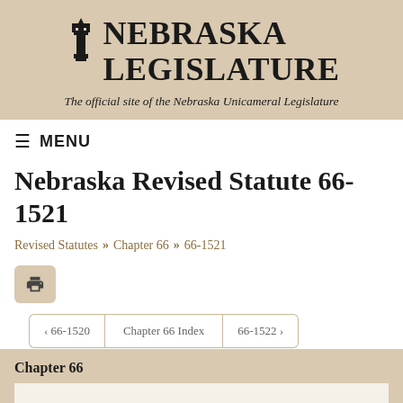NEBRASKA LEGISLATURE
The official site of the Nebraska Unicameral Legislature
≡ MENU
Nebraska Revised Statute 66-1521
Revised Statutes » Chapter 66 » 66-1521
Chapter 66